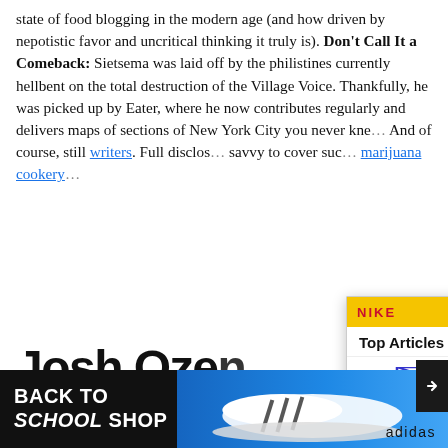state of food blogging in the modern age (and how driven by nepotistic favor and uncritical thinking it truly is). Don't Call It a Comeback: Sietsema was laid off by the philistines currently hellbent on the total destruction of the Village Voice. Thankfully, he was picked up by Eater, where he now contributes regularly and delivers maps of sections of New York City you never kne… And of course, still [link: writers]. Full disclos… savvy to cover such [link: marijuana cookery]…
[Figure (screenshot): Overlay widget showing 'Top Articles' label with Nike yellow bar at top, stacked boxes logo (FULL SIL RUN), and a video thumbnail of a man wearing a NY Yankees cap and black polo shirt in front of shoe store shelving. Yellow circle with right arrow visible. Vertical yellow bar on left.]
Josh Ozen
[Figure (photo): Bottom banner advertisement: black background on left with 'BACK TO SCHOOL SHOP' text in white/bold, blue gradient section showing Adidas sneakers, Adidas logo bottom right.]